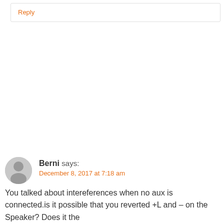Reply
Berni says:
December 8, 2017 at 7:18 am
You talked about intereferences when no aux is connected.is it possible that you reverted +L and – on the Speaker? Does it the